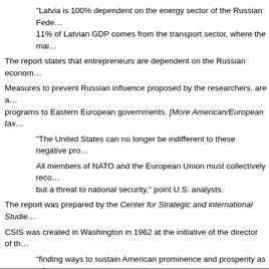"Latvia is 100% dependent on the energy sector of the Russian Fede... 11% of Latvian GDP comes from the transport sector, where the mai...
The report states that entrepreneurs are dependent on the Russian econom...
Measures to prevent Russian influence proposed by the researchers, are a... programs to Eastern European governments. [More American/European tax...
"The United States can no longer be indifferent to these negative pro...
All members of NATO and the European Union must collectively reco... but a threat to national security," point U.S. analysts.
The report was prepared by the Center for Strategic and international Studie...
CSIS was created in Washington in 1962 at the initiative of the director of th...
"finding ways to sustain American prominence and prosperity as a fo...
Today, CSIS conducts research on policy issues and strategic analysis of po... international relations, trade, technology, finance and energy.
Return to Rus...
Return to Ame...
Return to Globalization...